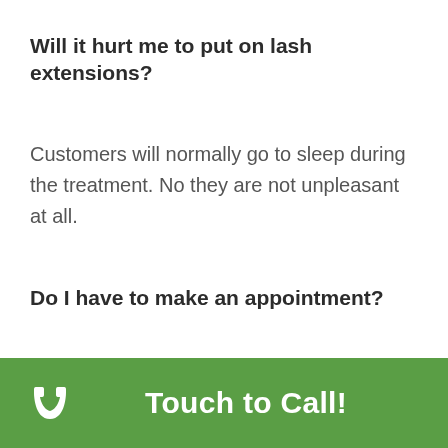Will it hurt me to put on lash extensions?
Customers will normally go to sleep during the treatment. No they are not unpleasant at all.
Do I have to make an appointment?
Touch to Call!